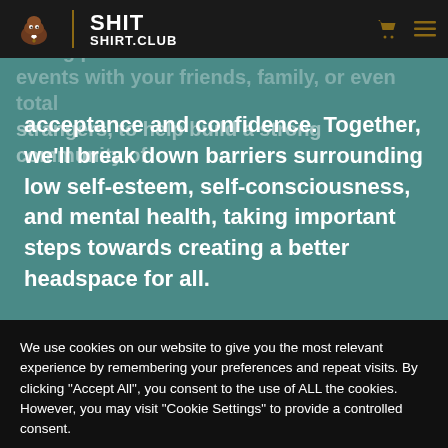[Figure (logo): Shit Shirt Club logo with poop emoji mascot wearing a tie, vertical divider, and text SHIT SHIRT.CLUB in white bold font on dark background]
simply wearing a wacky shirt at home, or taking part in events with your friends, family, or even total strangers, to help build a strong community of acceptance and confidence. Together, we'll break down barriers surrounding low self-esteem, self-consciousness, and mental health, taking important steps towards creating a better headspace for all.
We use cookies on our website to give you the most relevant experience by remembering your preferences and repeat visits. By clicking "Accept All", you consent to the use of ALL the cookies. However, you may visit "Cookie Settings" to provide a controlled consent.